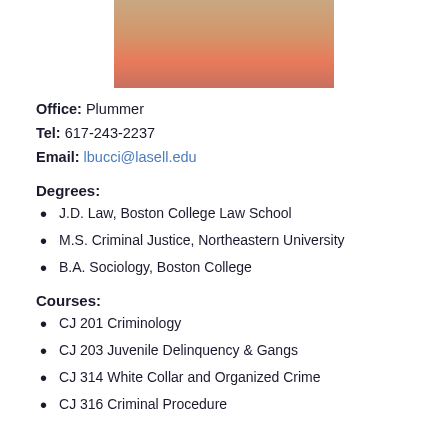[Figure (photo): Partial photo of a woman with blonde hair, cropped at the top of the page]
Office: Plummer
Tel: 617-243-2237
Email: lbucci@lasell.edu
Degrees:
J.D. Law, Boston College Law School
M.S. Criminal Justice, Northeastern University
B.A. Sociology, Boston College
Courses:
CJ 201 Criminology
CJ 203 Juvenile Delinquency & Gangs
CJ 314 White Collar and Organized Crime
CJ 316 Criminal Procedure